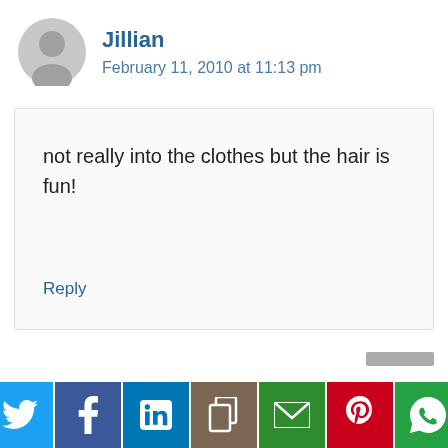[Figure (illustration): Grey circular avatar/user icon placeholder]
Jillian
February 11, 2010 at 11:13 pm
not really into the clothes but the hair is fun!
Reply
[Figure (infographic): Social sharing bar with Twitter, Facebook, LinkedIn, Copy, Email, Pinterest, WhatsApp icons]